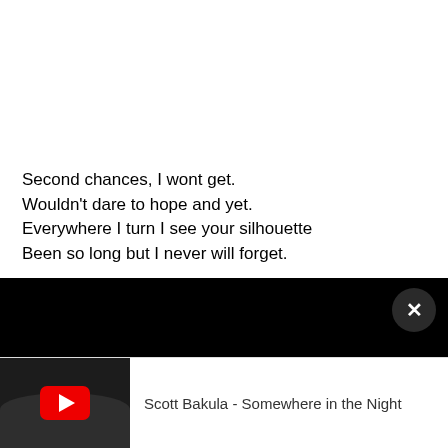Second chances, I wont get.
Wouldn't dare to hope and yet.
Everywhere I turn I see your silhouette
Been so long but I never will forget.

Somewhere in the night,
Inside my dreams you burn so bright.
And I'm with you there and everything's alright.
Somewhere in the night,
[Figure (screenshot): Black bar overlay with close (X) button in a dark circle at right, and YouTube video player bar at bottom showing thumbnail (dark with YouTube red play button) and title 'Scott Bakula - Somewhere in the Night']